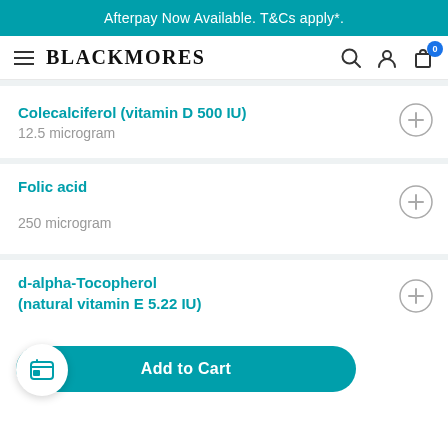Afterpay Now Available. T&Cs apply*.
[Figure (screenshot): Blackmores website navigation bar with hamburger menu, Blackmores logo, search icon, account icon, and cart icon with badge showing 0]
Colecalciferol (vitamin D 500 IU) — 12.5 microgram
Folic acid — 250 microgram
d-alpha-Tocopherol (natural vitamin E 5.22 IU)
Add to Cart